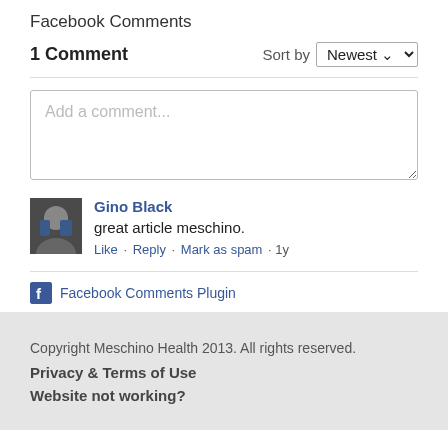Facebook Comments
1 Comment   Sort by Newest
Add a comment...
Gino Black
great article meschino.
Like · Reply · Mark as spam · 1y
Facebook Comments Plugin
Copyright Meschino Health 2013. All rights reserved.
Privacy & Terms of Use
Website not working?